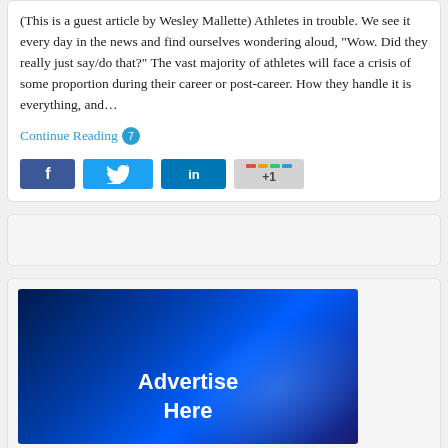(This is a guest article by Wesley Mallette) Athletes in trouble. We see it every day in the news and find ourselves wondering aloud, “Wow. Did they really just say/do that?” The vast majority of athletes will face a crisis of some proportion during their career or post-career. How they handle it is everything, and…
Continue Reading 💬 7
[Figure (infographic): Social sharing buttons: Facebook (blue), Twitter (light blue), LinkedIn (dark blue), Google+1 (gray with color bar)]
[Figure (other): Empty gray placeholder card]
[Figure (illustration): Advertisement placeholder image with dark blue gradient background and white text reading 'Advertise Here']